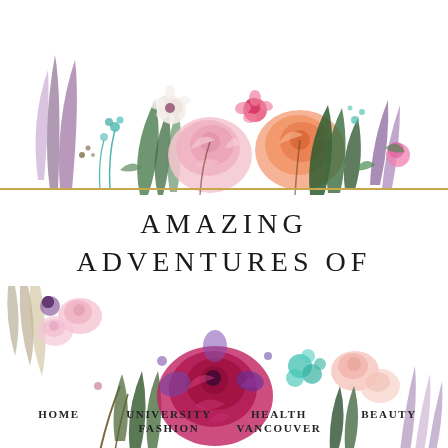[Figure (illustration): Watercolor floral arrangement at the top: pink, peach, and magenta flowers with green, teal, and purple foliage arranged in a horizontal banner]
AMAZING ADVENTURES OF EMMA-LYNN
[Figure (illustration): Watercolor floral arrangement at the bottom: deep magenta and pink flowers with green, teal, and purple foliage arranged in a horizontal banner]
HOME  UNIVERSITY  HEALTH  BEAUTY  FASHION  VANCOUVER